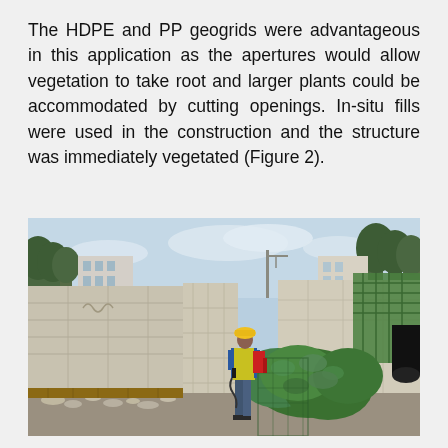The HDPE and PP geogrids were advantageous in this application as the apertures would allow vegetation to take root and larger plants could be accommodated by cutting openings. In-situ fills were used in the construction and the structure was immediately vegetated (Figure 2).
[Figure (photo): Construction site photograph showing a worker wearing a yellow hard hat and safety vest using equipment near concrete retaining walls. Lush green vegetation is visible on the right side. The scene shows a construction area with concrete panels, rubble, and green geosynthetic material visible. Trees and buildings are visible in the background under a partly cloudy sky.]